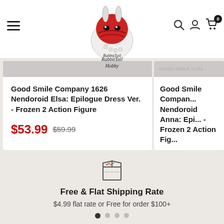[Figure (logo): RabbitTail Hobby logo with cartoon rabbit mascot]
Good Smile Company 1626 Nendoroid Elsa: Epilogue Dress Ver. - Frozen 2 Action Figure
$53.99  $59.99
Good Smile Company Nendoroid Anna: Epilogue Dress Ver. - Frozen 2 Action Figure
$53.99  $59.99
[Figure (illustration): Shipping box icon]
Free & Flat Shipping Rate
$4.99 flat rate or Free for order $100+